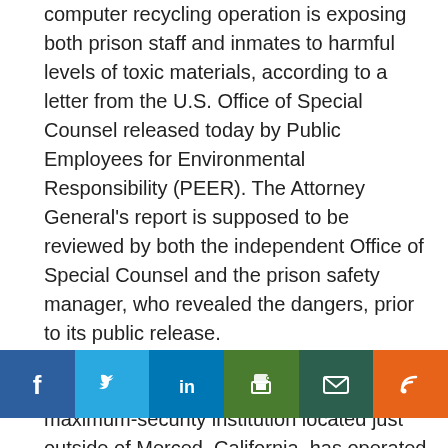computer recycling operation is exposing both prison staff and inmates to harmful levels of toxic materials, according to a letter from the U.S. Office of Special Counsel released today by Public Employees for Environmental Responsibility (PEER). The Attorney General's report is supposed to be reviewed by both the independent Office of Special Counsel and the prison safety manager, who revealed the dangers, prior to its public release.
The federal penitentiary at Atwater, a maximum-security institution located just outside of Merced, California, has operated a computer recycling plant since 2002 but the operation has been plagued by safety [social bar overlay] attempts to cut toxic contamination had been